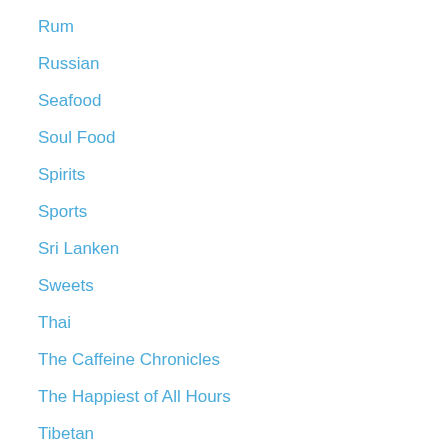Rum
Russian
Seafood
Soul Food
Spirits
Sports
Sri Lanken
Sweets
Thai
The Caffeine Chronicles
The Happiest of All Hours
Tibetan
Today's Special
Travel
Turkish
Uncategorized
Upper East Side
Upper West Side
Uyghur
Vegetables